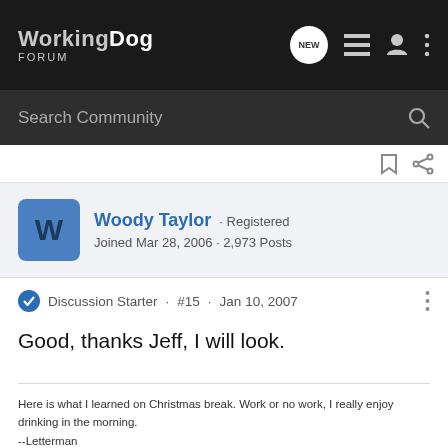WorkingDog FORUM
Search Community
Woody Taylor · Registered
Joined Mar 28, 2006 · 2,973 Posts
Discussion Starter · #15 · Jan 10, 2007
Good, thanks Jeff, I will look.
Here is what I learned on Christmas break. Work or no work, I really enjoy drinking in the morning.
--Letterman